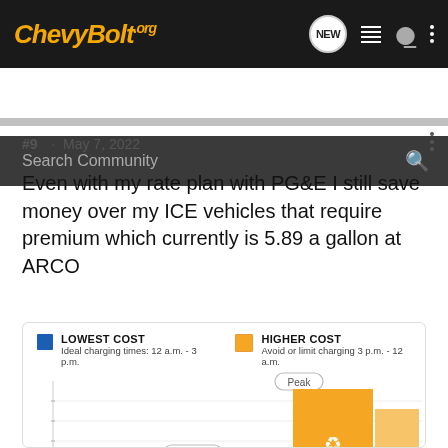[Figure (screenshot): ChevyBolt.org website navigation bar with logo, NEW bubble icon, list icon, user icon, and dots menu]
[Figure (screenshot): Search Community search bar with magnifying glass icon]
#9 · May 7, 2022
Even with my rate plan with PG&E I still save money over my ICE vehicles that require premium which currently is 5.89 a gallon at ARCO
[Figure (bar-chart): Partial bar chart showing LOWEST COST (blue) ideal charging times 12 a.m. - 3 p.m. and HIGHER COST (orange) avoid or limit charging 3 p.m. - 12 a.m. with Peak label and Off-peak label visible. Chart is partially cut off at bottom.]